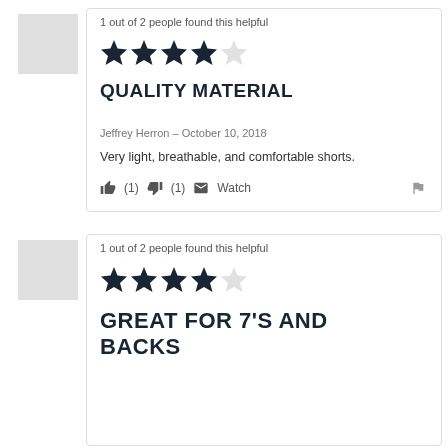1 out of 2 people found this helpful
[Figure (other): 4 out of 5 stars rating]
QUALITY MATERIAL
Jeffrey Herron – October 10, 2018
Very light, breathable, and comfortable shorts.
(1) (1) Watch
1 out of 2 people found this helpful
[Figure (other): 4 out of 5 stars rating]
GREAT FOR 7'S AND BACKS